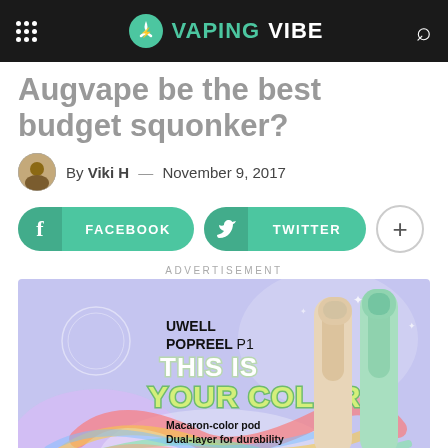VAPINGVIBE
Augvape be the best budget squonker?
By Viki H — November 9, 2017
FACEBOOK  TWITTER  +
ADVERTISEMENT
[Figure (photo): UWELL POPREEL P1 advertisement with colorful background, two vape devices (beige and mint green), with text: THIS IS YOUR COLOR. Macaron-color pod. Dual-layer for durability. 3-direction visual window.]